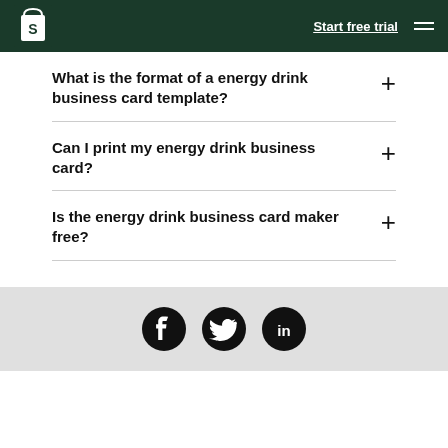Shopify — Start free trial
What is the format of a energy drink business card template?
Can I print my energy drink business card?
Is the energy drink business card maker free?
[Figure (infographic): Social media icons: Facebook, Twitter, LinkedIn in black circles on a light gray footer bar]